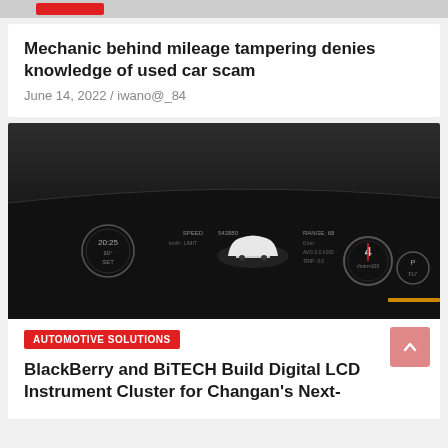Mechanic behind mileage tampering denies knowledge of used car scam
June 14, 2022 / iwano@_84
[Figure (photo): Dark automotive instrument cluster / digital dashboard display showing gauges and a white car silhouette]
AUTOMOTIVE SOLUTIONS
BlackBerry and BiTECH Build Digital LCD Instrument Cluster for Changan's Next-